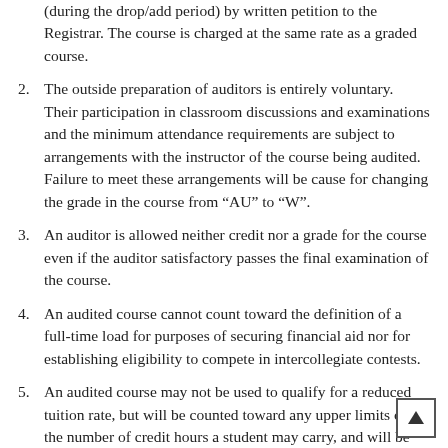(during the drop/add period) by written petition to the Registrar. The course is charged at the same rate as a graded course.
2. The outside preparation of auditors is entirely voluntary. Their participation in classroom discussions and examinations and the minimum attendance requirements are subject to arrangements with the instructor of the course being audited. Failure to meet these arrangements will be cause for changing the grade in the course from “AU” to “W”.
3. An auditor is allowed neither credit nor a grade for the course even if the auditor satisfactory passes the final examination of the course.
4. An audited course cannot count toward the definition of a full-time load for purposes of securing financial aid nor for establishing eligibility to compete in intercollegiate contests.
5. An audited course may not be used to qualify for a reduced tuition rate, but will be counted toward any upper limits on the number of credit hours a student may carry, and will be counted in determining